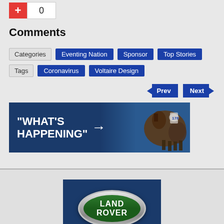+ 0
Comments
Categories  Eventing Nation  Sponsor  Top Stories
Tags  Coronavirus  Voltaire Design
Prev  Next
[Figure (illustration): "WHAT'S HAPPENING" banner ad with horse and rider image on dark blue background]
[Figure (logo): Land Rover logo — green oval badge on dark blue background]